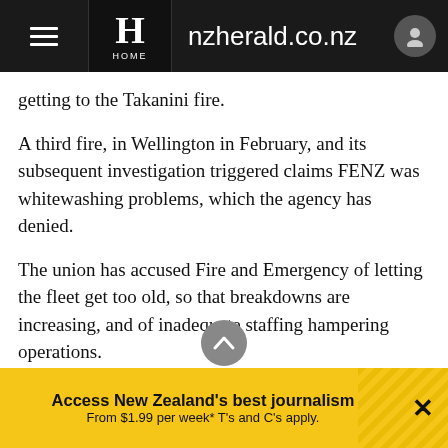nzherald.co.nz
getting to the Takanini fire.
A third fire, in Wellington in February, and its subsequent investigation triggered claims FENZ was whitewashing problems, which the agency has denied.
The union has accused Fire and Emergency of letting the fleet get too old, so that breakdowns are increasing, and of inadequate staffing hampering operations.
FENZ has rejected both claims.
Chief executive Kerry Gregory on Thursday accused the union of using "alarmist language" around staffing.
Access New Zealand's best journalism From $1.99 per week* T's and C's apply.